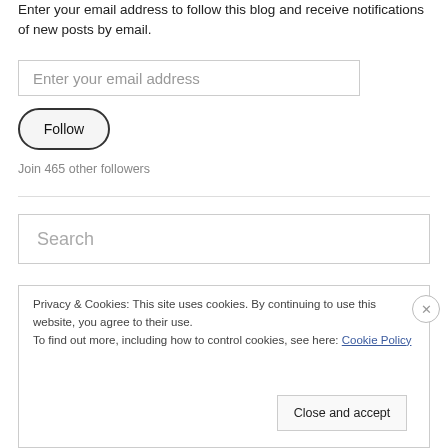Enter your email address to follow this blog and receive notifications of new posts by email.
Enter your email address
Follow
Join 465 other followers
Search
Privacy & Cookies: This site uses cookies. By continuing to use this website, you agree to their use.
To find out more, including how to control cookies, see here: Cookie Policy
Close and accept